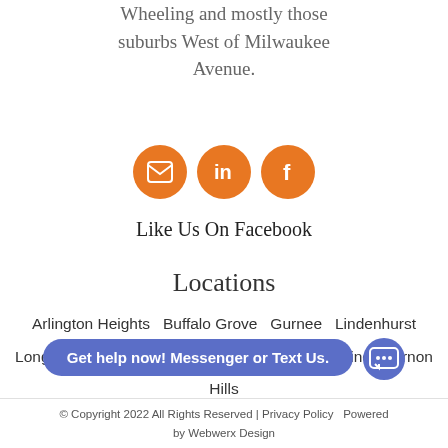Wheeling and mostly those suburbs West of Milwaukee Avenue.
[Figure (illustration): Three orange circular social media icons: email (envelope), LinkedIn (in), and Facebook (f)]
Like Us On Facebook
Locations
Arlington Heights  Buffalo Grove  Gurnee  Lindenhurst  Long Grove  Mount Prospect  Mundelein  Palatine  Vernon Hills  Wauconda  Wheeling
Get help now! Messenger or Text Us.
© Copyright 2022 All Rights Reserved | Privacy Policy  Powered by Webwerx Design